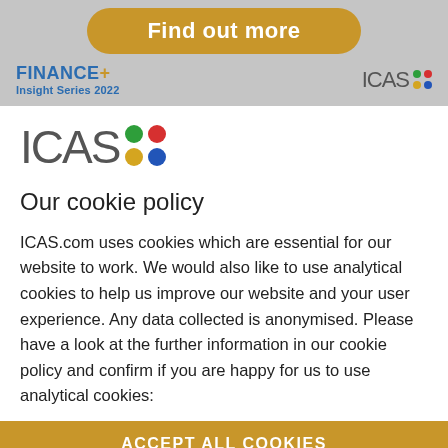[Figure (logo): Find out more button - amber/gold rounded rectangle button]
[Figure (logo): FINANCE+ Insight Series 2022 logo (left) and ICAS colored dots logo (right) in gray banner]
[Figure (logo): Large ICAS logo with colored dots: green, red (top), yellow, blue (bottom)]
Our cookie policy
ICAS.com uses cookies which are essential for our website to work. We would also like to use analytical cookies to help us improve our website and your user experience. Any data collected is anonymised. Please have a look at the further information in our cookie policy and confirm if you are happy for us to use analytical cookies:
[Figure (other): Partial amber/gold button at bottom - ACCEPT ALL COOKIES (partially visible)]